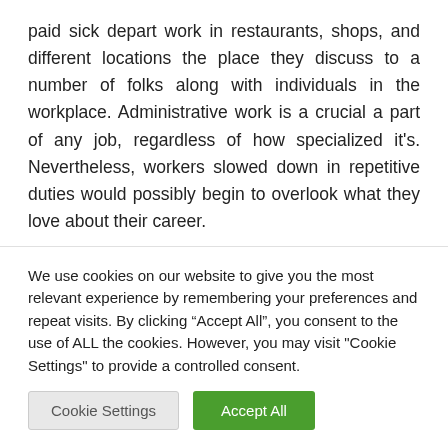paid sick depart work in restaurants, shops, and different locations the place they discuss to a number of folks along with individuals in the workplace. Administrative work is a crucial a part of any job, regardless of how specialized it's. Nevertheless, workers slowed down in repetitive duties would possibly begin to overlook what they love about their career.

To offer it a healthy makeover, we (The Meal Makeover Moms) begin by switching from a can of tuna to a can of
We use cookies on our website to give you the most relevant experience by remembering your preferences and repeat visits. By clicking “Accept All”, you consent to the use of ALL the cookies. However, you may visit "Cookie Settings" to provide a controlled consent.